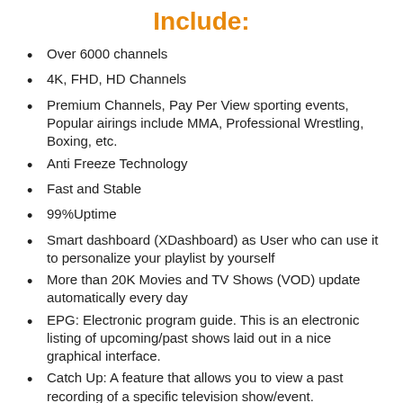Include:
Over 6000 channels
4K, FHD, HD Channels
Premium Channels, Pay Per View sporting events, Popular airings include MMA, Professional Wrestling, Boxing, etc.
Anti Freeze Technology
Fast and Stable
99%Uptime
Smart dashboard (XDashboard) as User who can use it to personalize your playlist by yourself
More than 20K Movies and TV Shows (VOD) update automatically every day
EPG: Electronic program guide. This is an electronic listing of upcoming/past shows laid out in a nice graphical interface.
Catch Up: A feature that allows you to view a past recording of a specific television show/event.
Support all Devices